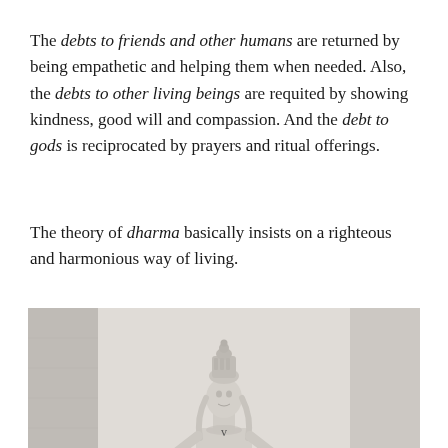The debts to friends and other humans are returned by being empathetic and helping them when needed. Also, the debts to other living beings are requited by showing kindness, good will and compassion. And the debt to gods is reciprocated by prayers and ritual offerings.
The theory of dharma basically insists on a righteous and harmonious way of living.
[Figure (photo): Black and white photograph of a Hindu deity statue (Shiva) with an ornate crown, centered in the frame against a light stone background. A small black rectangle is visible in the lower right area of the image.]
v